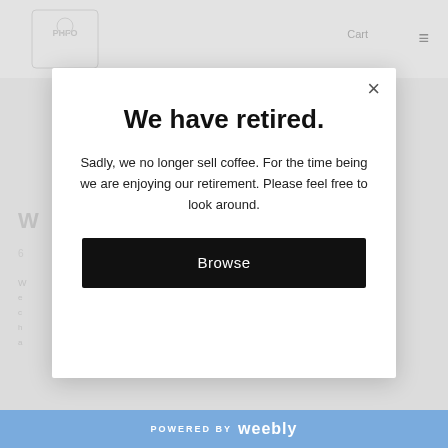[Figure (screenshot): Website background showing a coffee shop page with logo, Cart link, and hamburger menu in header, with partial page content visible behind modal overlay]
We have retired.
Sadly, we no longer sell coffee. For the time being we are enjoying our retirement. Please feel free to look around.
Browse
POWERED BY weebly